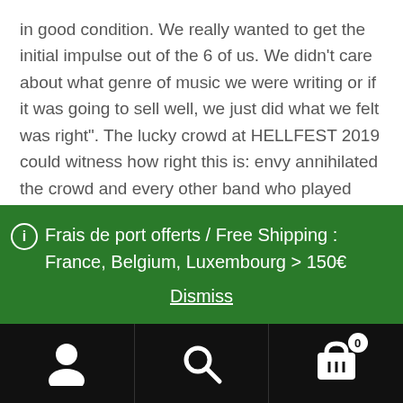in good condition. We really wanted to get the initial impulse out of the 6 of us. We didn't care about what genre of music we were writing or if it was going to sell well, we just did what we felt was right". The lucky crowd at HELLFEST 2019 could witness how right this is: envy annihilated the crowd and every other band who played that festival, and left nothing but smoke and debris.

With the release of „The Fallen Crimson", envy have made themselves the best possible gift for their 25th birthday: and album to honor the past, embrace the present and
Frais de port offerts / Free Shipping : France, Belgium, Luxembourg > 150€
Dismiss